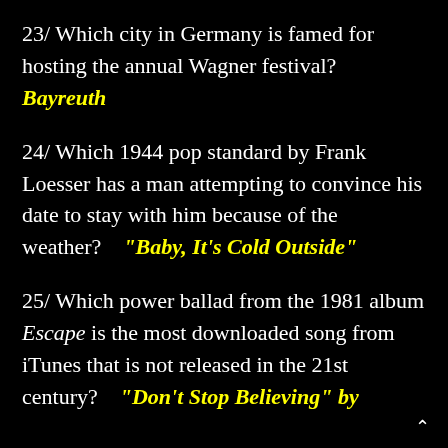23/ Which city in Germany is famed for hosting the annual Wagner festival? Bayreuth
24/ Which 1944 pop standard by Frank Loesser has a man attempting to convince his date to stay with him because of the weather? "Baby, It's Cold Outside"
25/ Which power ballad from the 1981 album Escape is the most downloaded song from iTunes that is not released in the 21st century? "Don't Stop Believing" by